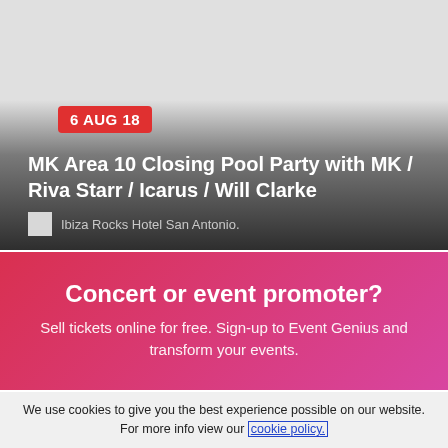[Figure (screenshot): Event card with gray background gradient transitioning to dark gradient at bottom, showing a date badge, event title, and venue]
6 AUG 18
MK Area 10 Closing Pool Party with MK / Riva Starr / Icarus / Will Clarke
Ibiza Rocks Hotel San Antonio.
Concert or event promoter?
Sell tickets online for free. Sign-up to Event Genius and transform your events.
We use cookies to give you the best experience possible on our website. For more info view our cookie policy.